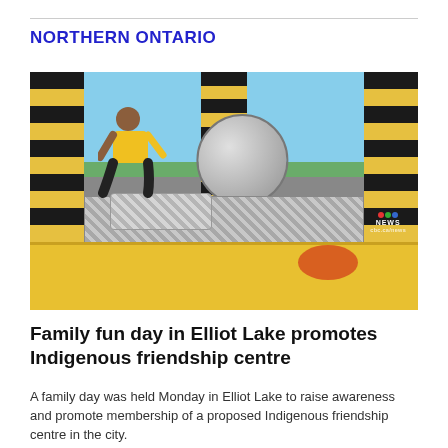NORTHERN ONTARIO
[Figure (photo): A child in a yellow shirt crouching on a metallic diamond-plate inflatable obstacle course with large striped pillars and a large grey ball overhead, with a yellow inflatable border at the bottom. CBC News watermark in the lower right corner.]
Family fun day in Elliot Lake promotes Indigenous friendship centre
A family day was held Monday in Elliot Lake to raise awareness and promote membership of a proposed Indigenous friendship centre in the city.